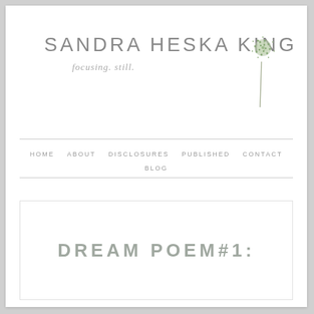[Figure (logo): Sandra Heska King blog header logo with name in thin uppercase letters, italic tagline 'focusing. still.' and a watercolor dandelion illustration in green]
HOME   ABOUT   DISCLOSURES   PUBLISHED   CONTACT   BLOG
DREAM POEM#1: